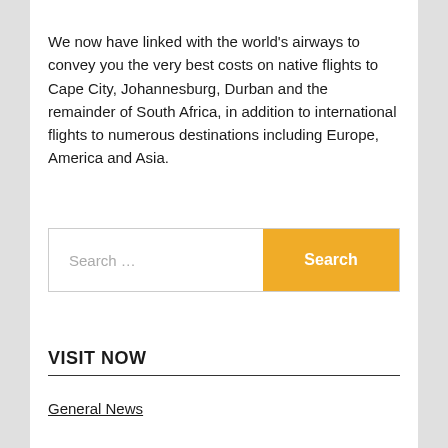We now have linked with the world's airways to convey you the very best costs on native flights to Cape City, Johannesburg, Durban and the remainder of South Africa, in addition to international flights to numerous destinations including Europe, America and Asia.
VISIT NOW
General News